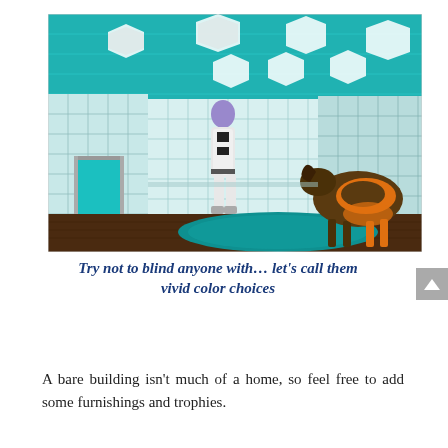[Figure (screenshot): A 3D virtual world screenshot showing a humanoid character in a black and white bodysuit standing in a tiled room with a teal and white checkered ceiling with glowing geometric light fixtures. There is a dark wooden floor, a doorway to the left, a teal circular rug, and a horse-like creature with orange and black coloring on the right.]
Try not to blind anyone with... let's call them vivid color choices
A bare building isn't much of a home, so feel free to add some furnishings and trophies.